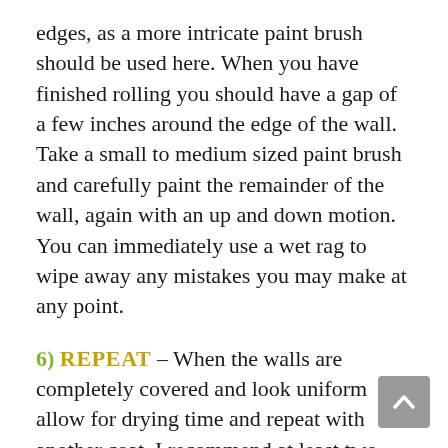edges, as a more intricate paint brush should be used here. When you have finished rolling you should have a gap of a few inches around the edge of the wall. Take a small to medium sized paint brush and carefully paint the remainder of the wall, again with an up and down motion. You can immediately use a wet rag to wipe away any mistakes you may make at any point.
6) REPEAT – When the walls are completely covered and look uniform allow for drying time and repeat with another coat. I recommend at least two coats to ensure a solid color. Often lighter shades will need a third coat depending on the previous wall color.